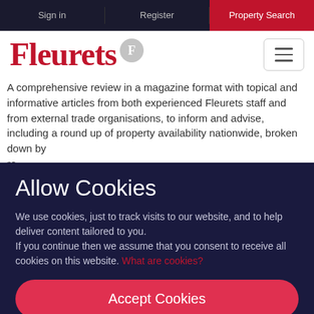Sign in | Register | Property Search
[Figure (logo): Fleurets logo with red text and grey shield icon]
A comprehensive review in a magazine format with topical and informative articles from both experienced Fleurets staff and from external trade organisations, to inform and advise, including a round up of property availability nationwide, broken down by re op " A
Allow Cookies
We use cookies, just to track visits to our website, and to help deliver content tailored to you.
If you continue then we assume that you consent to receive all cookies on this website. What are cookies?
Accept Cookies